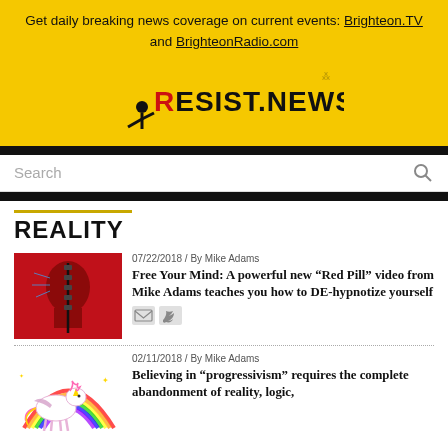Get daily breaking news coverage on current events: Brighteon.TV and BrighteonRadio.com
[Figure (logo): RESIST.NEWS logo on yellow background with stylized figure]
Search
REALITY
07/22/2018 / By Mike Adams
[Figure (photo): Red silhouette of head with zipper and digital brain imagery]
Free Your Mind: A powerful new “Red Pill” video from Mike Adams teaches you how to DE-hypnotize yourself
02/11/2018 / By Mike Adams
[Figure (illustration): Unicorn with rainbow illustration]
Believing in “progressivism” requires the complete abandonment of reality, logic, science and reason